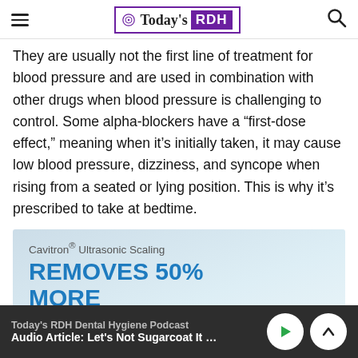Today's RDH
They are usually not the first line of treatment for blood pressure and are used in combination with other drugs when blood pressure is challenging to control. Some alpha-blockers have a “first-dose effect,” meaning when it’s initially taken, it may cause low blood pressure, dizziness, and syncope when rising from a seated or lying position. This is why it’s prescribed to take at bedtime.
[Figure (other): Advertisement for Cavitron Ultrasonic Scaling: 'REMOVES 50% MORE' active biofilm than hand scaling alone]
Today's RDH Dental Hygiene Podcast | Audio Article: Let's Not Sugarcoat It - Viewing ...